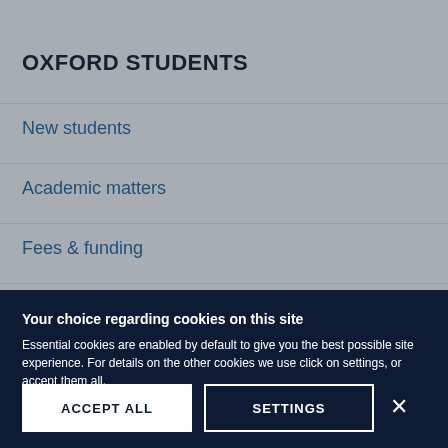OXFORD STUDENTS
New students
Academic matters
Fees & funding
Visa & immigration
Your choice regarding cookies on this site
Essential cookies are enabled by default to give you the best possible site experience. For details on the other cookies we use click on settings, or accept them all.
ACCEPT ALL
SETTINGS